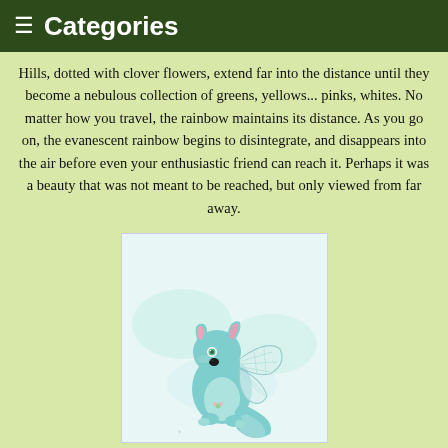≡ Categories
Hills, dotted with clover flowers, extend far into the distance until they become a nebulous collection of greens, yellows... pinks, whites. No matter how you travel, the rainbow maintains its distance. As you go on, the evanescent rainbow begins to disintegrate, and disappears into the air before even your enthusiastic friend can reach it. Perhaps it was a beauty that was not meant to be reached, but only viewed from far away.
[Figure (illustration): A hand-drawn style illustration of a teal/cyan colored fox with butterfly wings, sitting and facing left. The fox has a pink ear, green eyes, a black nose, and decorative wing patterns. The background is a pale blue-green wash.]